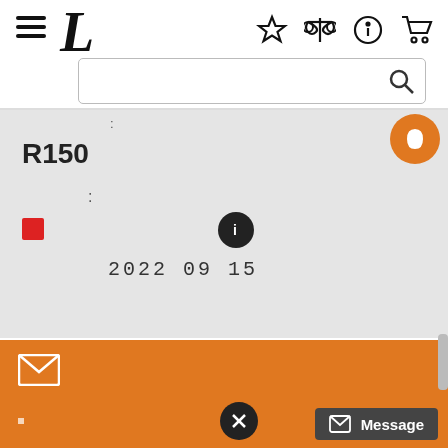[Figure (screenshot): Mobile app navigation bar with hamburger menu icon, italic L logo, search bar, and icons for favorites, compare, info, and cart]
:
R150
:
[Figure (infographic): Red square icon and info circle icon with date 2022 09 15 below]
2022 09 15
[Figure (infographic): Orange email button with envelope icon]
[Figure (infographic): Quantity input box showing 1 and orange add-to-cart button with cart icon and exclamation mark]
[Figure (infographic): Teal wishlist/favorites button with star icon]
[Figure (infographic): Orange bottom bar with close X button circle]
Message